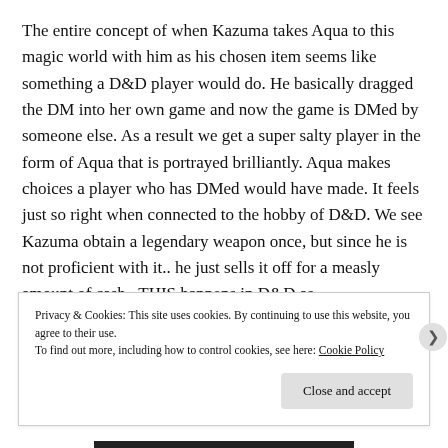The entire concept of when Kazuma takes Aqua to this magic world with him as his chosen item seems like something a D&D player would do. He basically dragged the DM into her own game and now the game is DMed by someone else. As a result we get a super salty player in the form of Aqua that is portrayed brilliantly. Aqua makes choices a player who has DMed would have made. It feels just so right when connected to the hobby of D&D. We see Kazuma obtain a legendary weapon once, but since he is not proficient with it.. he just sells it off for a measly amount of cash.  THIS happens in D&D as
Privacy & Cookies: This site uses cookies. By continuing to use this website, you agree to their use.
To find out more, including how to control cookies, see here: Cookie Policy